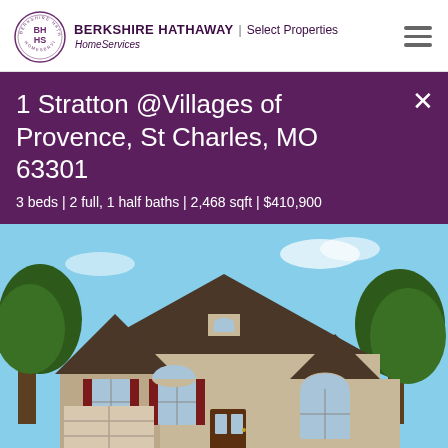[Figure (logo): Berkshire Hathaway HomeServices Select Properties logo with circular BHHS emblem]
1 Stratton @Villages of Provence, St Charles, MO 63301
3 beds | 2 full, 1 half baths | 2,468 sqft | $410,900
[Figure (photo): Exterior photo of a two-story beige/tan residential home with dark roof, red shutters on windows, and trees in background against blue sky]